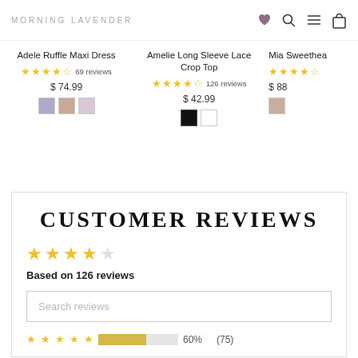MORNING LAVENDER
Adele Ruffle Maxi Dress — 4.5 stars, 69 reviews, $74.99
Amelie Long Sleeve Lace Crop Top — 4.5 stars, 126 reviews, $42.99
Mia Sweethea... — 4.5 stars, $88...
CUSTOMER REVIEWS
Based on 126 reviews
Search reviews
60% (75) — 5 stars rating bar